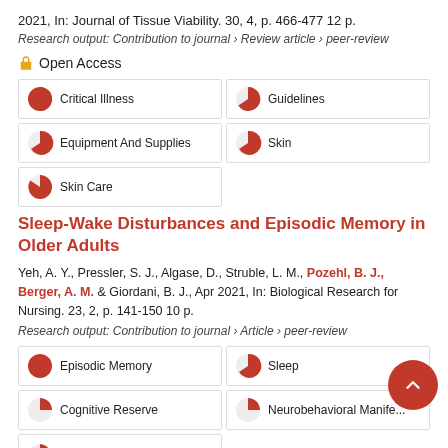2021, In: Journal of Tissue Viability. 30, 4, p. 466-477 12 p.
Research output: Contribution to journal › Review article › peer-review
Open Access
Critical Illness
Guidelines
Equipment And Supplies
Skin
Skin Care
Sleep-Wake Disturbances and Episodic Memory in Older Adults
Yeh, A. Y., Pressler, S. J., Algase, D., Struble, L. M., Pozehl, B. J., Berger, A. M. & Giordani, B. J., Apr 2021, In: Biological Research for Nursing. 23, 2, p. 141-150 10 p.
Research output: Contribution to journal › Article › peer-review
Episodic Memory
Sleep
Cognitive Reserve
Neurobehavioral Manifestations
Sleep...